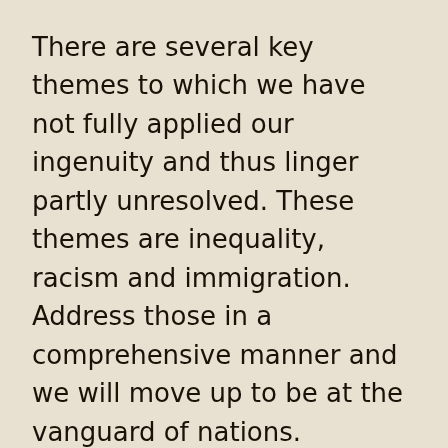There are several key themes to which we have not fully applied our ingenuity and thus linger partly unresolved. These themes are inequality, racism and immigration. Address those in a comprehensive manner and we will move up to be at the vanguard of nations.
Hard to believe, isn’t, that we are not there now.
And it is not for lack of talent, but for lack of leadership willing to commit to the task.
It has been hard for the white majority in this